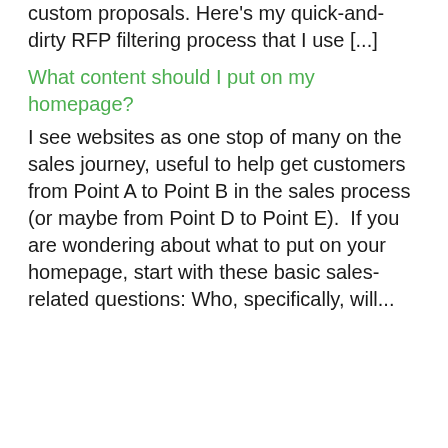custom proposals. Here's my quick-and-dirty RFP filtering process that I use [...]
What content should I put on my homepage?
I see websites as one stop of many on the sales journey, useful to help get customers from Point A to Point B in the sales process (or maybe from Point D to Point E).  If you are wondering about what to put on your homepage, start with these basic sales-related questions: Who, specifically, will...